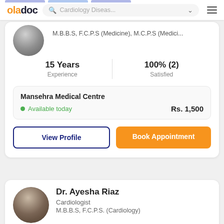oladoc | Cardiology Diseas...
M.B.B.S, F.C.P.S (Medicine), M.C.P.S (Medici...
15 Years Experience
100% (2) Satisfied
Mansehra Medical Centre
Available today   Rs. 1,500
View Profile
Book Appointment
Dr. Ayesha Riaz
Cardiologist
M.B.B.S, F.C.P.S. (Cardiology)